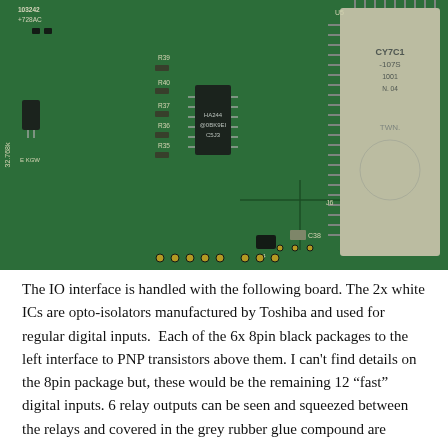[Figure (photo): Close-up photograph of a green printed circuit board (PCB) showing various electronic components including opto-isolators (white ICs), black 8-pin packages, resistors labeled R35-R40, capacitor C38, ICs labeled HA244 and CY7C10, a 32.768k crystal, and a large SRAM chip with TWN marking. Components are soldered to the green PCB with visible traces and through-hole connections.]
The IO interface is handled with the following board. The 2x white ICs are opto-isolators manufactured by Toshiba and used for regular digital inputs.  Each of the 6x 8pin black packages to the left interface to PNP transistors above them. I can't find details on the 8pin package but, these would be the remaining 12 “fast” digital inputs. 6 relay outputs can be seen and squeezed between the relays and covered in the grey rubber glue compound are